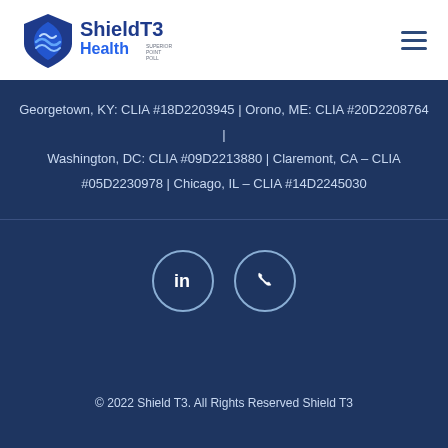[Figure (logo): ShieldT3 Health logo with shield icon and blue text]
Georgetown, KY: CLIA #18D2203945 | Orono, ME: CLIA #20D2208764 | Washington, DC: CLIA #09D2213880 | Claremont, CA – CLIA #05D2230978 | Chicago, IL – CLIA #14D2245030
[Figure (infographic): LinkedIn icon circle and phone icon circle]
© 2022 Shield T3. All Rights Reserved Shield T3